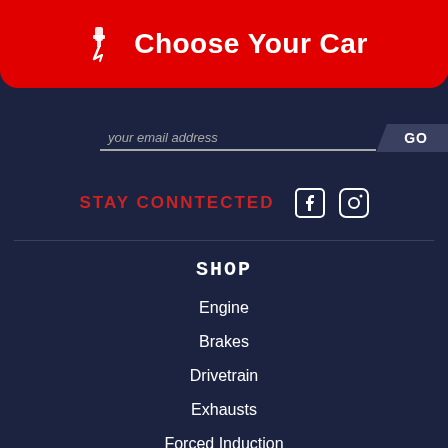Choose Your Car
your email address  GO
STAY CONNTECTED
SHOP
Engine
Brakes
Drivetrain
Exhausts
Forced Induction
Suspension
Cooling